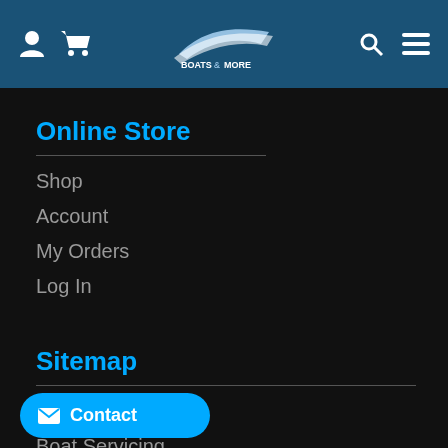Boats & More navigation header with logo, account icon, cart icon, search icon, menu icon
Online Store
Shop
Account
My Orders
Log In
Sitemap
Boats for Sale
Boat Servicing
Finance/Insurance
...e Sell Your Boat
Contact